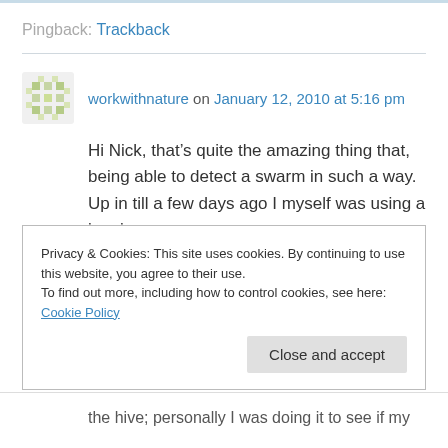Pingback: Trackback
workwithnature on January 12, 2010 at 5:16 pm
Hi Nick, that’s quite the amazing thing that, being able to detect a swarm in such a way. Up in till a few days ago I myself was using a jam jar; you
Privacy & Cookies: This site uses cookies. By continuing to use this website, you agree to their use.
To find out more, including how to control cookies, see here: Cookie Policy
Close and accept
the hive; personally I was doing it to see if my